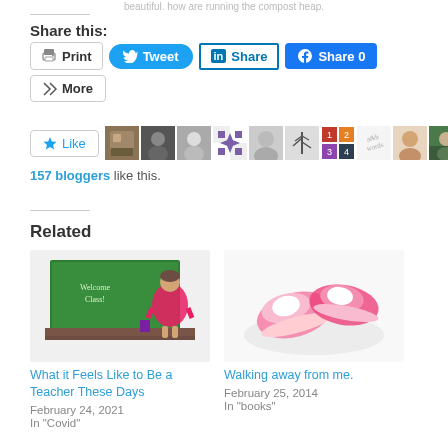Share this:
[Figure (screenshot): Social sharing buttons: Print, Tweet, LinkedIn Share, Facebook Share 0, More]
[Figure (screenshot): Like button with star icon and avatar strip of 10 blogger avatars. 157 bloggers like this.]
157 bloggers like this.
Related
[Figure (illustration): Cartoon illustration of a female teacher in pink dress standing in front of a green chalkboard that says Welcome Class]
What it Feels Like to Be a Teacher These Days
February 24, 2021
In "Covid"
[Figure (photo): Photo of pink baby shoes/sneakers on a white surface]
Walking away from me.
February 25, 2014
In "books"